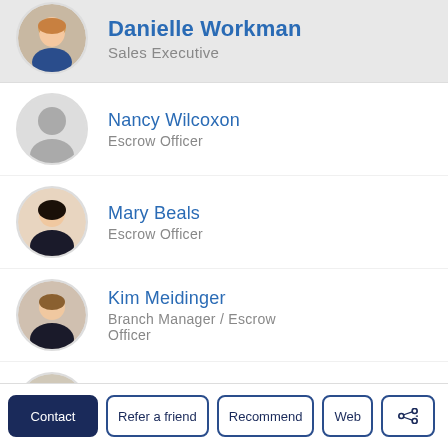Danielle Workman – Sales Executive
Nancy Wilcoxon – Escrow Officer
Mary Beals – Escrow Officer
Kim Meidinger – Branch Manager / Escrow Officer
Kevin Bor – Escrow Officer
Jennifer Vicari-Cox – Sales Executive
Contact | Refer a friend | Recommend | Web | Share